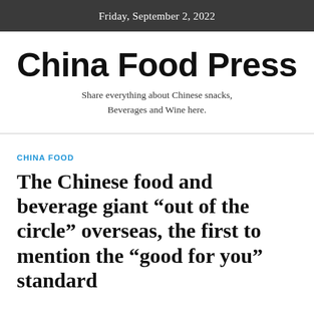Friday, September 2, 2022
China Food Press
Share everything about Chinese snacks, Beverages and Wine here.
CHINA FOOD
The Chinese food and beverage giant “out of the circle” overseas, the first to mention the “good for you” standard